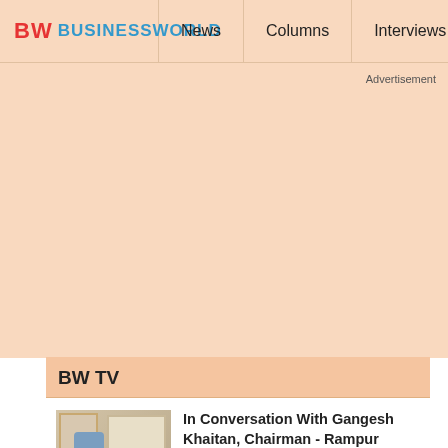BW BUSINESSWORLD | News | Columns | Interviews | BW
Advertisement
BW TV
In Conversation With Gangesh Khaitan, Chairman - Rampur Fertilisers Limited & The Khaitan School